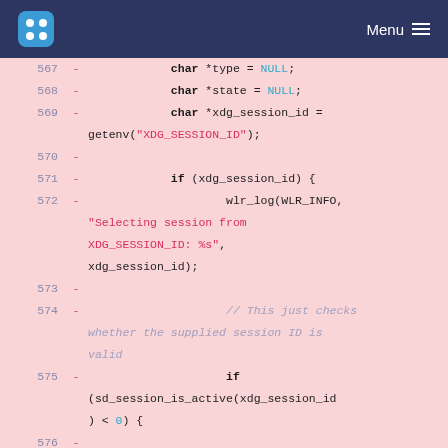Menu
[Figure (screenshot): Code diff view showing lines 567-576 of C source code with removed lines (prefixed with -) on a pink background. Lines include variable declarations and session ID checking logic.]